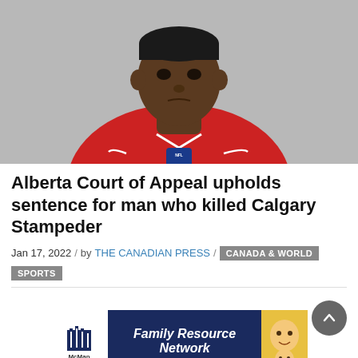[Figure (photo): Headshot of a man wearing a red San Francisco 49ers NFL jersey, photographed against a grey background]
Alberta Court of Appeal upholds sentence for man who killed Calgary Stampeder
Jan 17, 2022 / by THE CANADIAN PRESS / CANADA & WORLD
SPORTS
[Figure (other): McMan Family Resource Network advertisement banner with logo on the left and a family photo on the right]